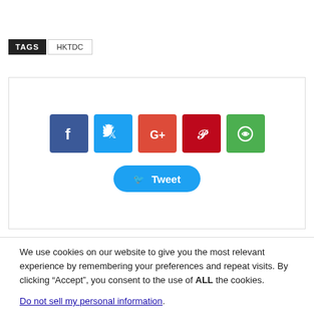TAGS  HKTDC
[Figure (other): Social sharing buttons: Facebook (blue), Twitter (light blue), Google+ (orange-red), Pinterest (red), WhatsApp (green), and a Twitter Tweet button below]
We use cookies on our website to give you the most relevant experience by remembering your preferences and repeat visits. By clicking “Accept”, you consent to the use of ALL the cookies.
Do not sell my personal information.
Cookie Settings  Accept